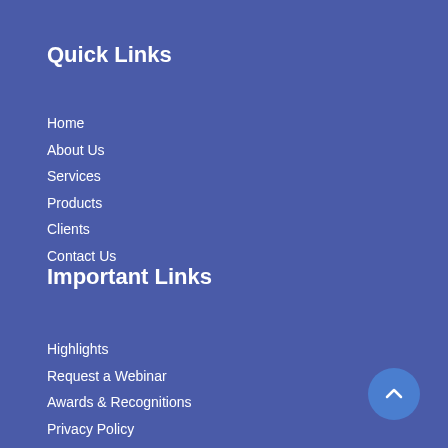Quick Links
Home
About Us
Services
Products
Clients
Contact Us
Important Links
Highlights
Request a Webinar
Awards & Recognitions
Privacy Policy
Trademarks & Terms of Use
Sitemap